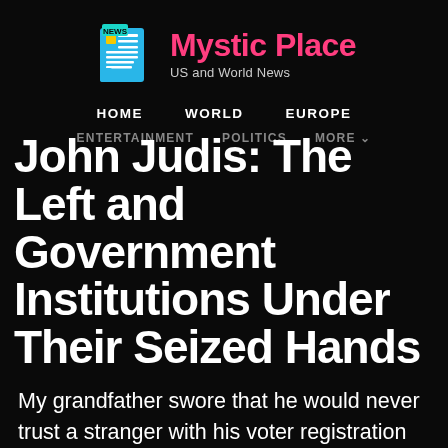[Figure (logo): Mystic Place news site logo with newspaper icon in blue and yellow, with NEWS label, and pink site title 'Mystic Place' and subtitle 'US and World News']
HOME   WORLD   EUROPE
ENTERTAINMENT   POLITICS   MORE ▾
John Judis: The Left and Government Institutions Under Their Seized Hands
My grandfather swore that he would never trust a stranger with his voter registration card. It was just the right thing to do, given that he was an